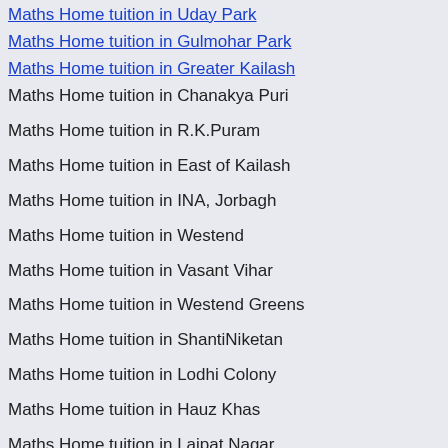Maths Home tuition in Uday Park
Maths Home tuition in Gulmohar Park
Maths Home tuition in Greater Kailash
Maths Home tuition in Chanakya Puri
Maths Home tuition in R.K.Puram
Maths Home tuition in East of Kailash
Maths Home tuition in INA, Jorbagh
Maths Home tuition in Westend
Maths Home tuition in Vasant Vihar
Maths Home tuition in Westend Greens
Maths Home tuition in ShantiNiketan
Maths Home tuition in Lodhi Colony
Maths Home tuition in Hauz Khas
Maths Home tuition in Lajpat Nagar